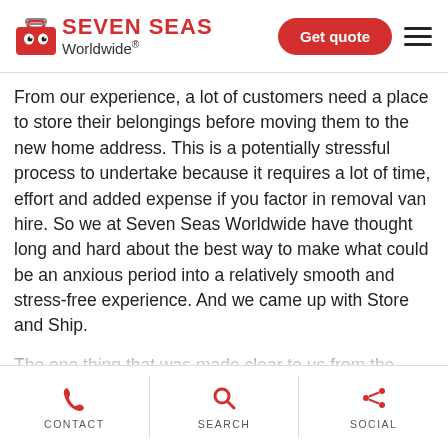[Figure (logo): Seven Seas Worldwide logo with red suitcase icon and brand name]
From our experience, a lot of customers need a place to store their belongings before moving them to the new home address. This is a potentially stressful process to undertake because it requires a lot of time, effort and added expense if you factor in removal van hire. So we at Seven Seas Worldwide have thought long and hard about the best way to make what could be an anxious period into a relatively smooth and stress-free experience. And we came up with Store and Ship.
The one thing that was made clear to us from the beginning was how none of the big self-storage firms help you out with transport. So this is what we offer – a taxi service for your stuff! Once your items are boxed (
CONTACT   SEARCH   SOCIAL